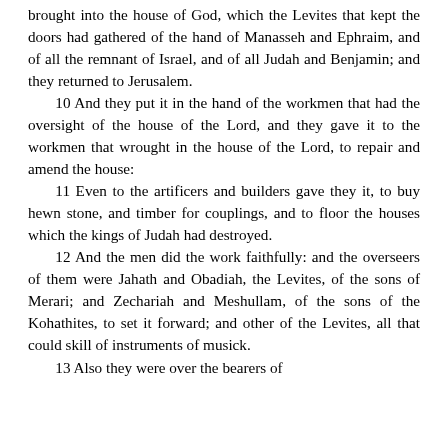brought into the house of God, which the Levites that kept the doors had gathered of the hand of Manasseh and Ephraim, and of all the remnant of Israel, and of all Judah and Benjamin; and they returned to Jerusalem.
  10 And they put it in the hand of the workmen that had the oversight of the house of the Lord, and they gave it to the workmen that wrought in the house of the Lord, to repair and amend the house:
  11 Even to the artificers and builders gave they it, to buy hewn stone, and timber for couplings, and to floor the houses which the kings of Judah had destroyed.
  12 And the men did the work faithfully: and the overseers of them were Jahath and Obadiah, the Levites, of the sons of Merari; and Zechariah and Meshullam, of the sons of the Kohathites, to set it forward; and other of the Levites, all that could skill of instruments of musick.
  13 Also they were over the bearers of